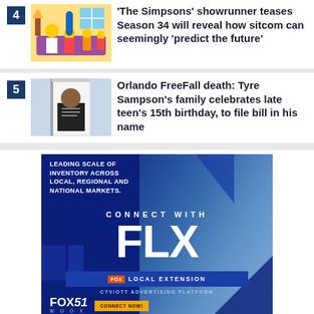4 'The Simpsons' showrunner teases Season 34 will reveal how sitcom can seemingly 'predict the future'
5 Orlando FreeFall death: Tyre Sampson's family celebrates late teen's 15th birthday, to file bill in his name
[Figure (infographic): FOX 51 / WOOX advertisement for FLX (Fox Local Extension) CTV/OTT advertising platform. Blue background with photo of hands using phone and documents. Text: LEADING SCALE OF INVENTORY ACROSS LOCAL, REGIONAL AND NATIONAL MARKETS. CONNECT WITH FLX. FOX LOCAL EXTENSION. CTV/OTT ADVERTISING PLATFORM. FOX 51 WOOX. CONNECT NOW!]